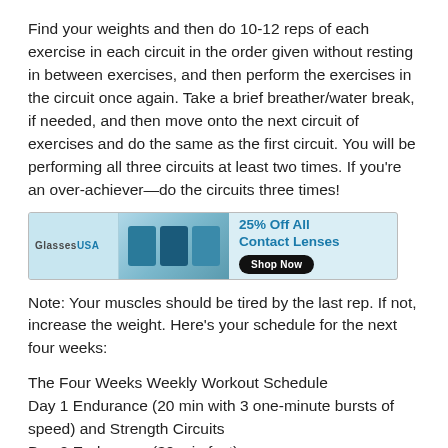Find your weights and then do 10-12 reps of each exercise in each circuit in the order given without resting in between exercises, and then perform the exercises in the circuit once again. Take a brief breather/water break, if needed, and then move onto the next circuit of exercises and do the same as the first circuit. You will be performing all three circuits at least two times. If you're an over-achiever—do the circuits three times!
[Figure (other): Advertisement banner for GlassesUSA showing contact lens products with text '25% Off All Contact Lenses' and a 'Shop Now' button on a light blue background.]
Note: Your muscles should be tired by the last rep. If not, increase the weight. Here's your schedule for the next four weeks:
The Four Weeks Weekly Workout Schedule Day 1 Endurance (20 min with 3 one-minute bursts of speed) and Strength Circuits Day 2 Endurance (30 min fast)